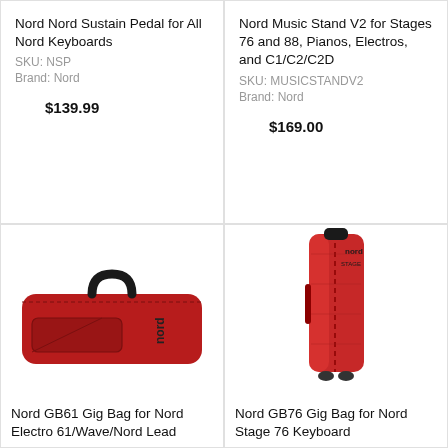Nord Nord Sustain Pedal for All Nord Keyboards
SKU: NSP
Brand: Nord
$139.99
Nord Music Stand V2 for Stages 76 and 88, Pianos, Electros, and C1/C2/C2D
SKU: MUSICSTANDV2
Brand: Nord
$169.00
[Figure (photo): Red Nord GB61 gig bag with black handle and Nord logo, rectangular keyboard bag]
Nord GB61 Gig Bag for Nord Electro 61/Wave/Nord Lead
[Figure (photo): Red Nord GB76 gig bag standing upright vertically with Nord Stage logo at top, tall keyboard bag with wheels]
Nord GB76 Gig Bag for Nord Stage 76 Keyboard